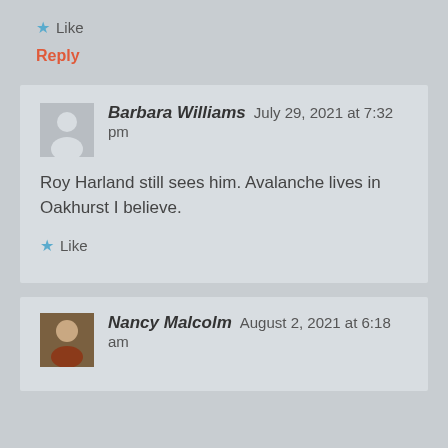★ Like
Reply
Barbara Williams   July 29, 2021 at 7:32 pm
Roy Harland still sees him. Avalanche lives in Oakhurst I believe.
★ Like
Nancy Malcolm   August 2, 2021 at 6:18 am